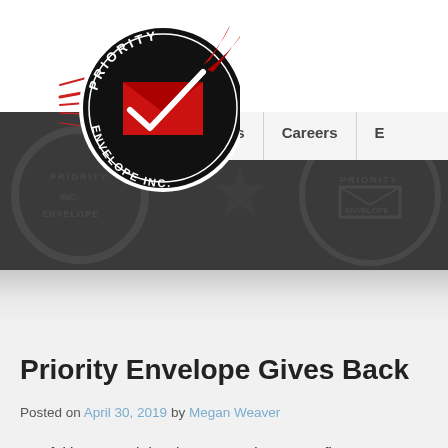[Figure (logo): Priority Envelope Inc. circular logo with red envelope and speed lines on a black circle, with rocket/comet graphic]
About Us | Careers | E...
Priority Envelope Gives Back
Posted on April 30, 2019 by Megan Weaver
Interfaith Outreach is a human service nonprofit serv...